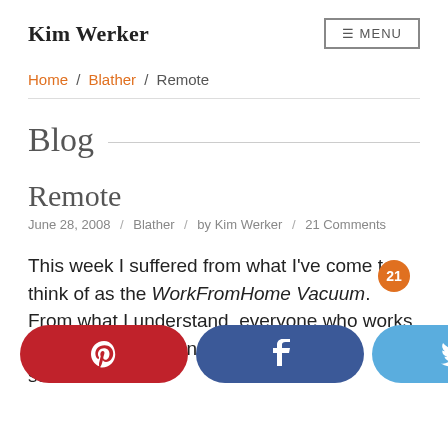Kim Werker | ≡ MENU
Home / Blather / Remote
Blog
Remote
June 28, 2008 / Blather / by Kim Werker / 21 Comments
This week I suffered from what I've come to think of as the WorkFromHome Vacuum. From what I understand, everyone who works from home experiences [it] ... succumb to it...